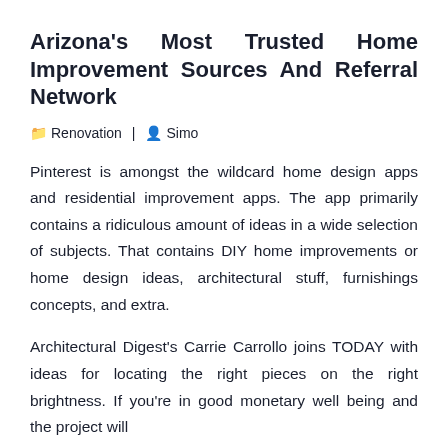Arizona's Most Trusted Home Improvement Sources And Referral Network
Renovation | Simo
Pinterest is amongst the wildcard home design apps and residential improvement apps. The app primarily contains a ridiculous amount of ideas in a wide selection of subjects. That contains DIY home improvements or home design ideas, architectural stuff, furnishings concepts, and extra.
Architectural Digest's Carrie Carrollo joins TODAY with ideas for locating the right pieces on the right brightness. If you're in good monetary well being and the project will